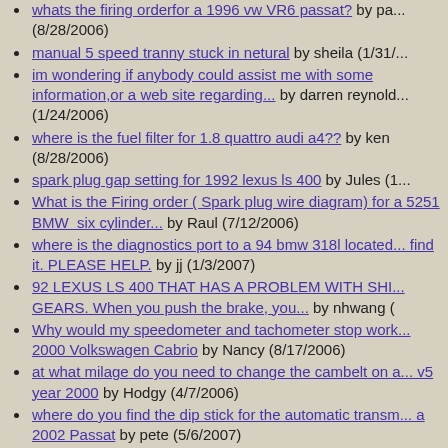whats the firing orderfor a 1996 vw VR6 passat? by pa... (8/28/2006)
manual 5 speed tranny stuck in netural by sheila (1/31/...
im wondering if anybody could assist me with some information,or a web site regarding... by darren reynold... (1/24/2006)
where is the fuel filter for 1.8 quattro audi a4?? by ken (8/28/2006)
spark plug gap setting for 1992 lexus ls 400 by Jules (1...
What is the Firing order ( Spark plug wire diagram) for a 5251 BMW six cylinder... by Raul (7/12/2006)
where is the diagnostics port to a 94 bmw 318l located... find it. PLEASE HELP. by jj (1/3/2007)
92 LEXUS LS 400 THAT HAS A PROBLEM WITH SHI... GEARS. When you push the brake, you... by nhwang (
Why would my speedometer and tachometer stop work... 2000 Volkswagen Cabrio by Nancy (8/17/2006)
at what milage do you need to change the cambelt on a... v5 year 2000 by Hodgy (4/7/2006)
where do you find the dip stick for the automatic transm... a 2002 Passat by pete (5/6/2007)
i have a 1990 volkswagon fox. i need a new front drive... park light. does anyone have... by floyd (4/7/2006)
I have a 2005 Dodge Caraven SXT and need to replace... drivers side mirror. I can... by Smoothie92128@yaho...